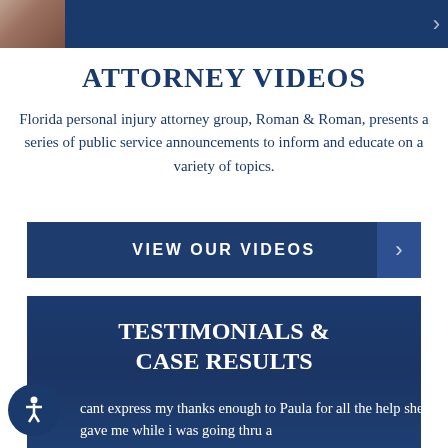[Figure (screenshot): Top dark blue banner with a thumbnail image of hands on the left and a right chevron arrow on the right]
ATTORNEY VIDEOS
Florida personal injury attorney group, Roman & Roman, presents a series of public service announcements to inform and educate on a variety of topics.
[Figure (screenshot): Dark blue button bar reading VIEW OUR VIDEOS with a right chevron on the right side]
[Figure (screenshot): Dark blue section banner with bold white text TESTIMONIALS & CASE RESULTS and partial testimonial quote text at the bottom]
cant express my thanks enough to Paula for all the help she gave me while i was going thru a